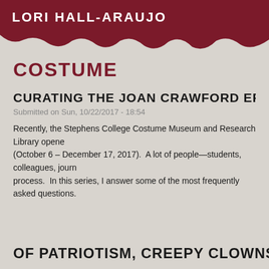LORI HALL-ARAUJO
COSTUME
CURATING THE JOAN CRAWFORD EFFE
Submitted on Sun, 10/22/2017 - 18:54
Recently, the Stephens College Costume Museum and Research Library opene (October 6 – December 17, 2017).  A lot of people—students, colleagues, journ process.  In this series, I answer some of the most frequently asked questions.
OF PATRIOTISM, CREEPY CLOWNS, AND